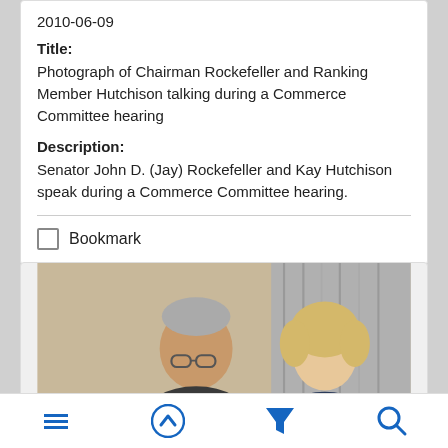2010-06-09
Title:
Photograph of Chairman Rockefeller and Ranking Member Hutchison talking during a Commerce Committee hearing
Description:
Senator John D. (Jay) Rockefeller and Kay Hutchison speak during a Commerce Committee hearing.
Bookmark
[Figure (photo): Photograph of two people, an older man and a blonde woman, appearing to talk during a Commerce Committee hearing. Background shows a beige/tan wall and gray curtain.]
Menu | Up | Filter | Search toolbar icons